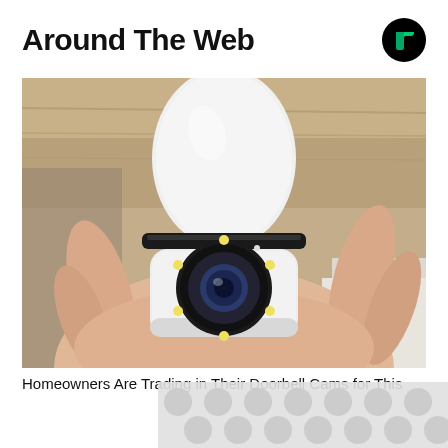Around The Web
[Figure (photo): A hand holding a small white security camera shaped like a light bulb with a rotating head and circular lens with LED lights around it, against a wooden shelf background.]
Homeowners Are Trading in Their Doorbell Cams for This